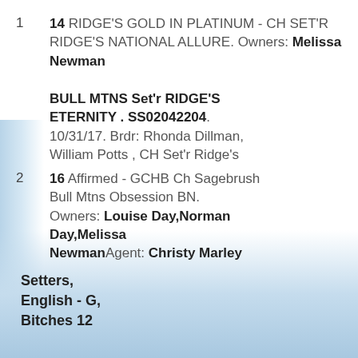1   14 RIDGE'S GOLD IN PLATINUM - CH SET'R RIDGE'S NATIONAL ALLURE. Owners: Melissa Newman   BULL MTNS Set'r RIDGE'S ETERNITY . SS02042204. 10/31/17. Brdr: Rhonda Dillman, William Potts , CH Set'r Ridge's
2   16 Affirmed - GCHB Ch Sagebrush Bull Mtns Obsession BN. Owners: Louise Day,Norman Day,Melissa Newman Agent: Christy Marley
Setters, English - G, Bitches 12...